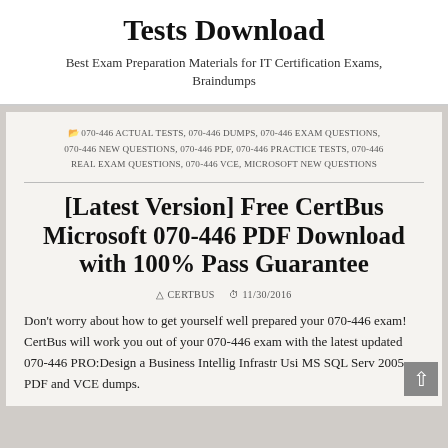Tests Download
Best Exam Preparation Materials for IT Certification Exams, Braindumps
070-446 ACTUAL TESTS, 070-446 DUMPS, 070-446 EXAM QUESTIONS, 070-446 NEW QUESTIONS, 070-446 PDF, 070-446 PRACTICE TESTS, 070-446 REAL EXAM QUESTIONS, 070-446 VCE, MICROSOFT NEW QUESTIONS
[Latest Version] Free CertBus Microsoft 070-446 PDF Download with 100% Pass Guarantee
CERTBUS   11/30/2016
Don't worry about how to get yourself well prepared your 070-446 exam! CertBus will work you out of your 070-446 exam with the latest updated 070-446 PRO:Design a Business Intellig Infrastr Usi MS SQL Serv 2005 PDF and VCE dumps.